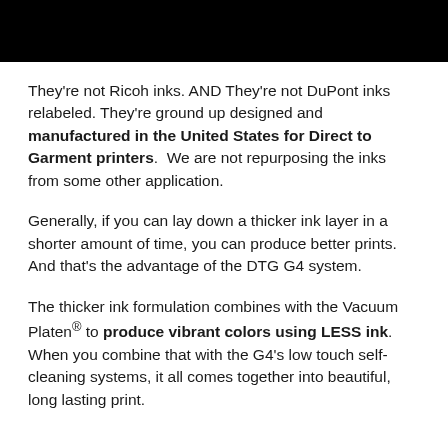They're not Ricoh inks. AND They're not DuPont inks relabeled. They're ground up designed and manufactured in the United States for Direct to Garment printers. We are not repurposing the inks from some other application.
Generally, if you can lay down a thicker ink layer in a shorter amount of time, you can produce better prints. And that's the advantage of the DTG G4 system.
The thicker ink formulation combines with the Vacuum Platen® to produce vibrant colors using LESS ink. When you combine that with the G4's low touch self-cleaning systems, it all comes together into beautiful, long lasting print.